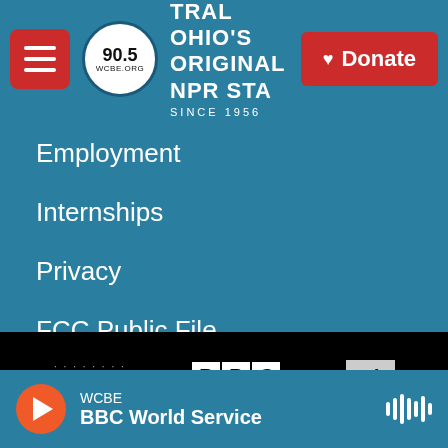[Figure (screenshot): WCBE 90.5 radio station website header with hamburger menu, station logo circle, station name text 'TRAL OHIO'S ORIGINAL NPR STA' and 'SINCE 1956', and a red Donate button with heart icon]
Employment
Internships
Privacy
FCC Public File
[Figure (logo): Footer logos section on black background: American Public Media, BBC, cpb, npr, PRX]
WCBE BBC World Service